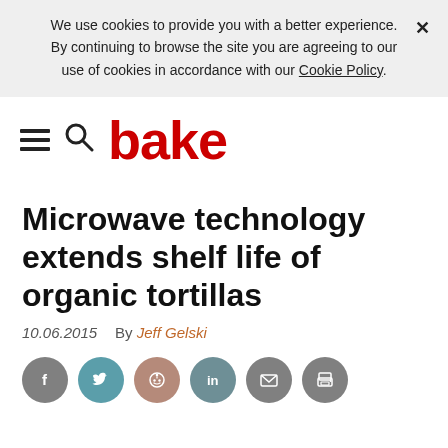We use cookies to provide you with a better experience. × By continuing to browse the site you are agreeing to our use of cookies in accordance with our Cookie Policy.
[Figure (logo): Bake magazine logo with hamburger menu icon, search icon, and red bold text 'bake']
Microwave technology extends shelf life of organic tortillas
10.06.2015    By Jeff Gelski
[Figure (infographic): Social sharing icons: Facebook (grey), Twitter (teal), Reddit (rosewood), LinkedIn (teal-grey), Email (grey), Print (grey)]